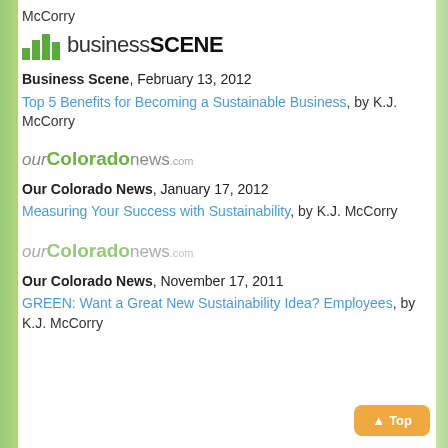McCorry
[Figure (logo): businessSCENE logo with green bar chart icon]
Business Scene, February 13, 2012
Top 5 Benefits for Becoming a Sustainable Business, by K.J. McCorry
[Figure (logo): ourColoradonews.com logo]
Our Colorado News, January 17, 2012
Measuring Your Success with Sustainability, by K.J. McCorry
[Figure (logo): ourColoradonews.com logo]
Our Colorado News, November 17, 2011
GREEN: Want a Great New Sustainability Idea? Employees, by K.J. McCorry